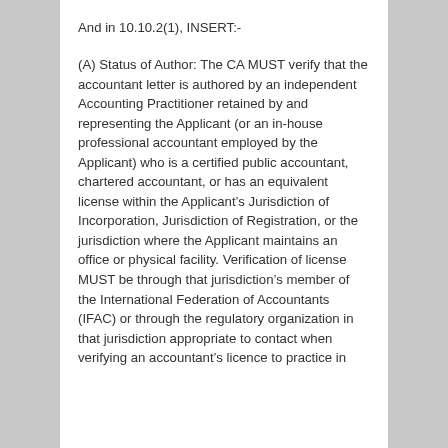And in 10.10.2(1), INSERT:-
(A) Status of Author: The CA MUST verify that the accountant letter is authored by an independent Accounting Practitioner retained by and representing the Applicant (or an in-house professional accountant employed by the Applicant) who is a certified public accountant, chartered accountant, or has an equivalent license within the Applicant’s Jurisdiction of Incorporation, Jurisdiction of Registration, or the jurisdiction where the Applicant maintains an office or physical facility. Verification of license MUST be through that jurisdiction’s member of the International Federation of Accountants (IFAC) or through the regulatory organization in that jurisdiction appropriate to contact when verifying an accountant’s licence to practice in